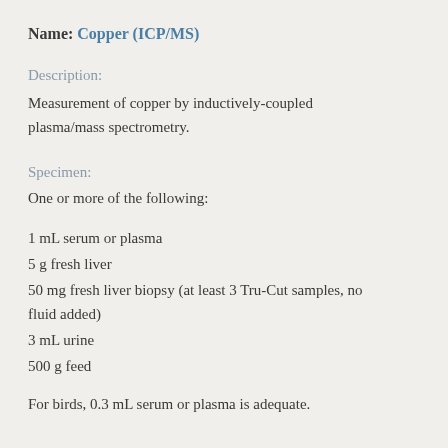Name: Copper (ICP/MS)
Description:
Measurement of copper by inductively-coupled plasma/mass spectrometry.
Specimen:
One or more of the following:
1 mL serum or plasma
5 g fresh liver
50 mg fresh liver biopsy (at least 3 Tru-Cut samples, no fluid added)
3 mL urine
500 g feed
For birds, 0.3 mL serum or plasma is adequate.